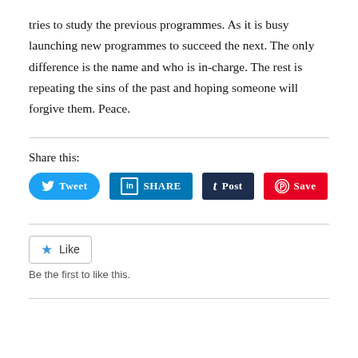tries to study the previous programmes. As it is busy launching new programmes to succeed the next. The only difference is the name and who is in-charge. The rest is repeating the sins of the past and hoping someone will forgive them. Peace.
Share this:
[Figure (other): Social share buttons: Tweet (Twitter, blue rounded), SHARE (LinkedIn, blue), Post (Tumblr, dark navy), Save (Pinterest, red)]
[Figure (other): Like button with blue star icon and text 'Like', followed by text 'Be the first to like this.']